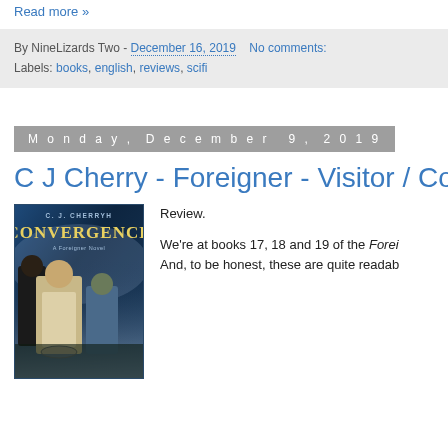Read more »
By NineLizards Two - December 16, 2019   No comments:
Labels: books, english, reviews, scifi
Monday, December 9, 2019
C J Cherry - Foreigner - Visitor / Converg
[Figure (photo): Book cover of C.J. Cherryh Convergence showing three figures]
Review.

We're at books 17, 18 and 19 of the Forei
And, to be honest, these are quite readab